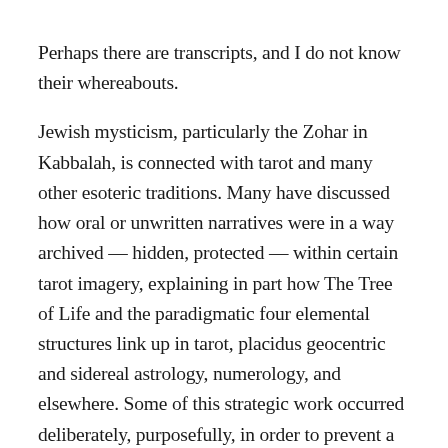Perhaps there are transcripts, and I do not know their whereabouts.
Jewish mysticism, particularly the Zohar in Kabbalah, is connected with tarot and many other esoteric traditions. Many have discussed how oral or unwritten narratives were in a way archived — hidden, protected — within certain tarot imagery, explaining in part how The Tree of Life and the paradigmatic four elemental structures link up in tarot, placidus geocentric and sidereal astrology, numerology, and elsewhere. Some of this strategic work occurred deliberately, purposefully, in order to prevent a risked loss of history — at risk due to Anti-Semitism and other forms of interrelated oppression. The beliefs were in a way cloaked